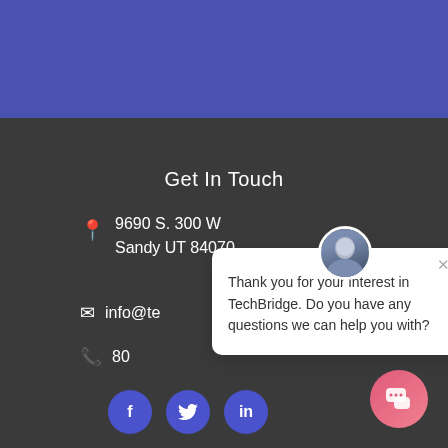[Figure (screenshot): Blue banner at top of page, partial website screenshot]
Get In Touch
9690 S. 300 W
Sandy UT 84070
info@te...
80...
[Figure (screenshot): Chat popup with avatar photo of a man in suit. Text: Thank you for your interest in TechBridge. Do you have any questions we can help you with?]
[Figure (infographic): Social media icon buttons: Facebook (f), Twitter (bird), LinkedIn (in) — blue circles]
[Figure (infographic): Pink/red chat FAB button at bottom right]